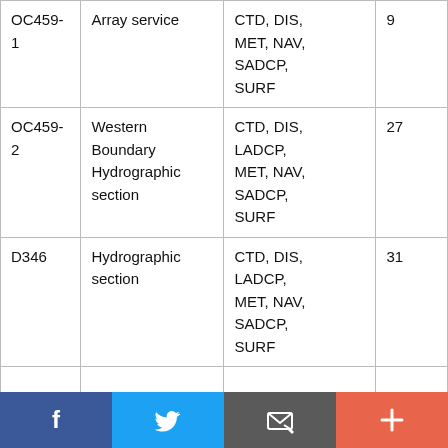| OC459-1 | Array service | CTD, DIS, MET, NAV, SADCP, SURF | 9 |
| OC459-2 | Western Boundary Hydrographic section | CTD, DIS, LADCP, MET, NAV, SADCP, SURF | 27 |
| D346 | Hydrographic section | CTD, DIS, LADCP, MET, NAV, SADCP, SURF | 31 |
|  |  |  |  |